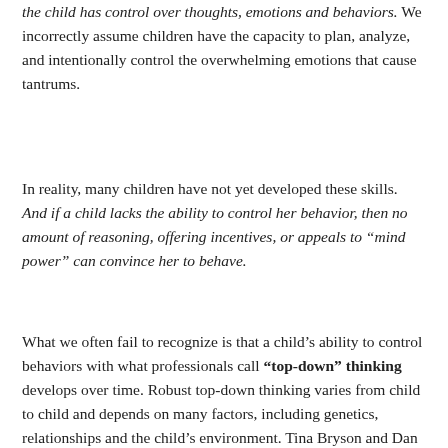the child has control over thoughts, emotions and behaviors. We incorrectly assume children have the capacity to plan, analyze, and intentionally control the overwhelming emotions that cause tantrums.
In reality, many children have not yet developed these skills. And if a child lacks the ability to control her behavior, then no amount of reasoning, offering incentives, or appeals to "mind power" can convince her to behave.
What we often fail to recognize is that a child's ability to control behaviors with what professionals call "top-down" thinking develops over time. Robust top-down thinking varies from child to child and depends on many factors, including genetics, relationships and the child's environment. Tina Bryson and Dan Siegel call the part of the brain that manages "top-